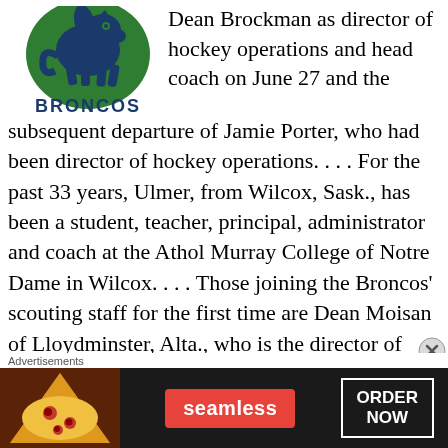[Figure (logo): Swift Current Broncos hockey team logo showing a bronco horse in green and navy with text BRONCOS below]
Dean Brockman as director of hockey operations and head coach on June 27 and the subsequent departure of Jamie Porter, who had been director of hockey operations. . . .  For the past 33 years, Ulmer, from Wilcox, Sask., has been a student, teacher, principal, administrator and coach at the Athol Murray College of Notre Dame in Wilcox. . . . Those joining the Broncos’ scouting staff for the first time are Dean Moisan of Lloydminster, Alta., who is the director of player personnel for the AJHL’s Bonnyville Pontiacs; Craig Anderson of
Advertisements
[Figure (photo): Seamless food delivery advertisement banner with pizza image on left, Seamless logo in red center, and ORDER NOW in white box on right, dark background]